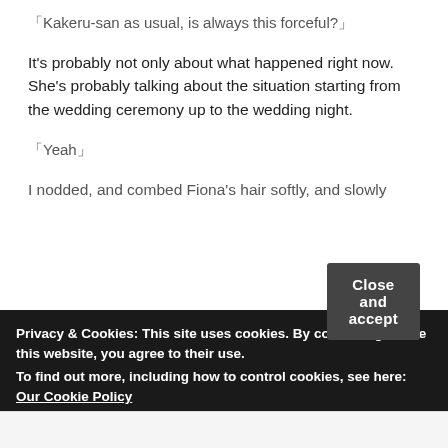「Kakeru-san as usual, is always this forceful?」
It's probably not only about what happened right now. She's probably talking about the situation starting from the wedding ceremony up to the wedding night.
「Yeah」
I nodded, and combed Fiona's hair softly, and slowly
Privacy & Cookies: This site uses cookies. By continuing to use this website, you agree to their use.
To find out more, including how to control cookies, see here: Our Cookie Policy
Close and accept